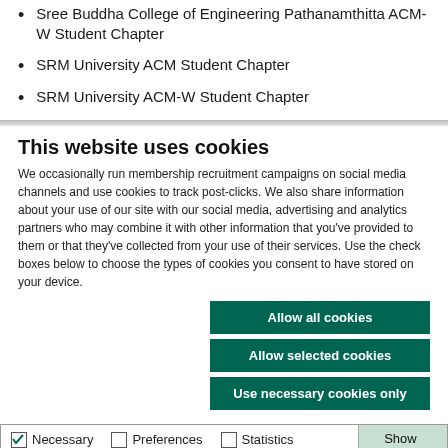Sree Buddha College of Engineering Pathanamthitta ACM-W Student Chapter
SRM University ACM Student Chapter
SRM University ACM-W Student Chapter
This website uses cookies
We occasionally run membership recruitment campaigns on social media channels and use cookies to track post-clicks. We also share information about your use of our site with our social media, advertising and analytics partners who may combine it with other information that you've provided to them or that they've collected from your use of their services. Use the check boxes below to choose the types of cookies you consent to have stored on your device.
Allow all cookies | Allow selected cookies | Use necessary cookies only
Necessary (checked), Preferences, Statistics, Marketing — Show details